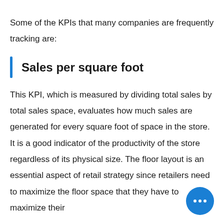Some of the KPIs that many companies are frequently tracking are:
Sales per square foot
This KPI, which is measured by dividing total sales by total sales space, evaluates how much sales are generated for every square foot of space in the store. It is a good indicator of the productivity of the store regardless of its physical size. The floor layout is an essential aspect of retail strategy since retailers need to maximize the floor space that they have to maximize their